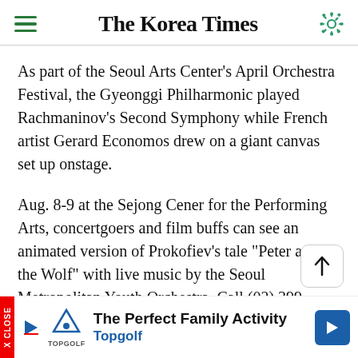The Korea Times
As part of the Seoul Arts Center's April Orchestra Festival, the Gyeonggi Philharmonic played Rachmaninov's Second Symphony while French artist Gerard Economos drew on a giant canvas set up onstage.
Aug. 8-9 at the Sejong Cener for the Performing Arts, concertgoers and film buffs can see an animated version of Prokofiev's tale "Peter and the Wolf" with live music by the Seoul Metropolitan Youth Orchestra. Call (02) 399-1114.
Music Makes Movies